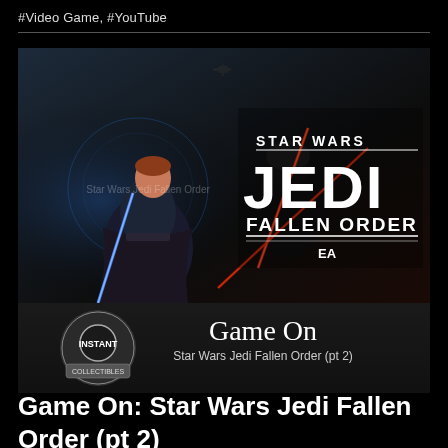#Video Game, #YouTube
[Figure (screenshot): YouTube video thumbnail and title card for 'Game On: Star Wars Jedi Fallen Order (pt 2)'. The thumbnail shows the Star Wars Jedi Fallen Order game cover art with characters and lightsabers on a dark background. Below the image is a YouTube-style card showing the channel logo (Instant Collectibles badge), the episode title 'Game On' in large white text, and subtitle 'Star Wars Jedi Fallen Order (pt 2)'.]
Game On: Star Wars Jedi Fallen Order (pt 2)